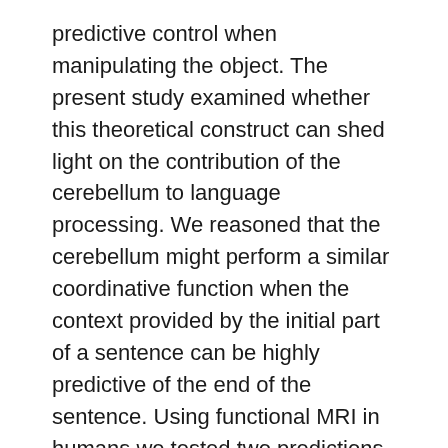predictive control when manipulating the object. The present study examined whether this theoretical construct can shed light on the contribution of the cerebellum to language processing. We reasoned that the cerebellum might perform a similar coordinative function when the context provided by the initial part of a sentence can be highly predictive of the end of the sentence. Using functional MRI in humans we tested two predictions derived from this hypothesis, building on previous neuroimaging studies of internal models in motor control. First, focal cerebellar activation–reflecting the operation of acquired internal models–should be enhanced when the linguistic context leads terminal words to be predictable. Second, more widespread activation should be observed when such predictions are violated, reflecting the processing of error signals that can be used to update internal models. Both predictions were confirmed, with predictability and prediction violations associated with